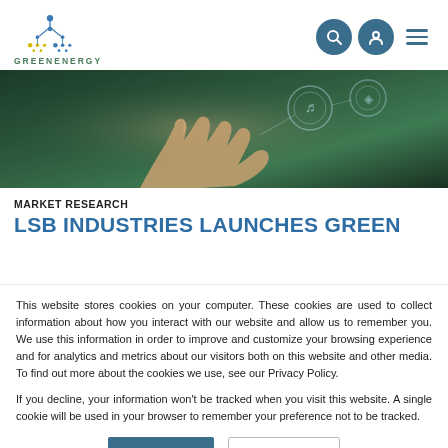[Figure (logo): GreenEnergy logo with dot/molecule pattern in blue and yellow, text GREENENERGY below]
[Figure (photo): Hero banner photo of a hand touching glowing digital icons against green leafy background]
MARKET RESEARCH
LSB INDUSTRIES LAUNCHES GREEN
This website stores cookies on your computer. These cookies are used to collect information about how you interact with our website and allow us to remember you. We use this information in order to improve and customize your browsing experience and for analytics and metrics about our visitors both on this website and other media. To find out more about the cookies we use, see our Privacy Policy.
If you decline, your information won’t be tracked when you visit this website. A single cookie will be used in your browser to remember your preference not to be tracked.